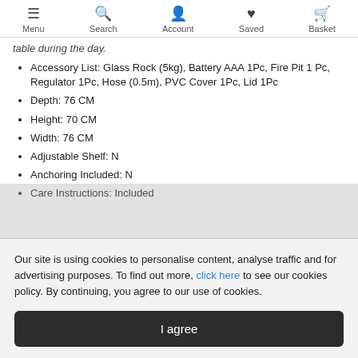Menu  Search  Account  Saved  Basket
table during the day.
Accessory List: Glass Rock (5kg), Battery AAA 1Pc, Fire Pit 1 Pc, Regulator 1Pc, Hose (0.5m), PVC Cover 1Pc, Lid 1Pc
Depth: 76 CM
Height: 70 CM
Width: 76 CM
Adjustable Shelf: N
Anchoring Included: N
Care Instructions: Included
Our site is using cookies to personalise content, analyse traffic and for advertising purposes. To find out more, click here to see our cookies policy. By continuing, you agree to our use of cookies.
I agree